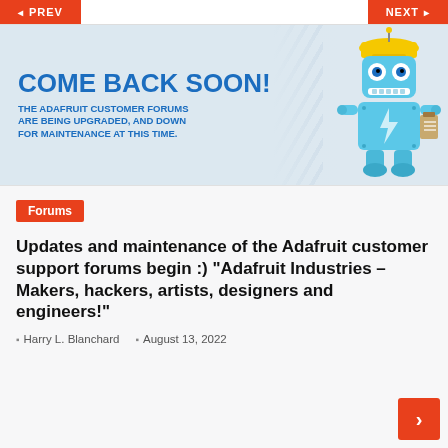PREV | NEXT
[Figure (illustration): Adafruit 'Come Back Soon' maintenance banner with blue robot mascot wearing yellow hard hat. Text reads: COME BACK SOON! THE ADAFRUIT CUSTOMER FORUMS ARE BEING UPGRADED, AND DOWN FOR MAINTENANCE AT THIS TIME.]
Forums
Updates and maintenance of the Adafruit customer support forums begin :) “Adafruit Industries – Makers, hackers, artists, designers and engineers!”
Harry L. Blanchard   August 13, 2022